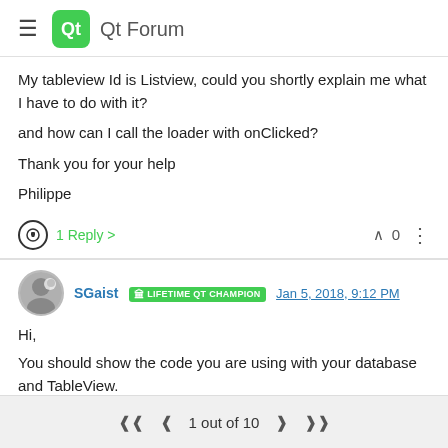Qt Forum
My tableview Id is Listview, could you shortly explain me what I have to do with it?
and how can I call the loader with onClicked?
Thank you for your help
Philippe
1 Reply > ∧ 0
SGaist  LIFETIME QT CHAMPION  Jan 5, 2018, 9:12 PM
Hi,
You should show the code you are using with your database and TableView.
1 out of 10